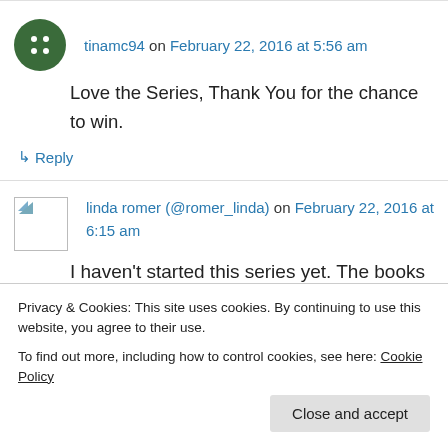tinamc94 on February 22, 2016 at 5:56 am
Love the Series, Thank You for the chance to win.
↳ Reply
linda romer (@romer_linda) on February 22, 2016 at 6:15 am
I haven't started this series yet. The books
Privacy & Cookies: This site uses cookies. By continuing to use this website, you agree to their use.
To find out more, including how to control cookies, see here: Cookie Policy
Close and accept